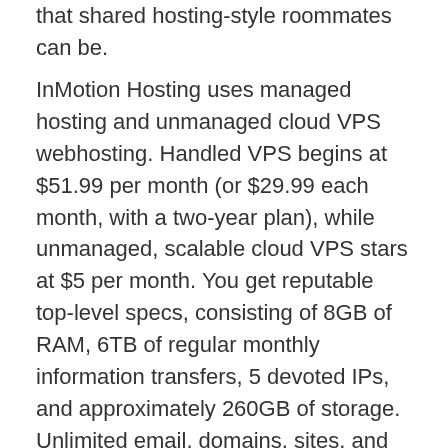that shared hosting-style roommates can be.
InMotion Hosting uses managed hosting and unmanaged cloud VPS webhosting. Handled VPS begins at $51.99 per month (or $29.99 each month, with a two-year plan), while unmanaged, scalable cloud VPS stars at $5 per month. You get reputable top-level specs, consisting of 8GB of RAM, 6TB of regular monthly information transfers, 5 devoted IPs, and approximately 260GB of storage. Unlimited email, domains, sites, and MySQL databases are included, too.